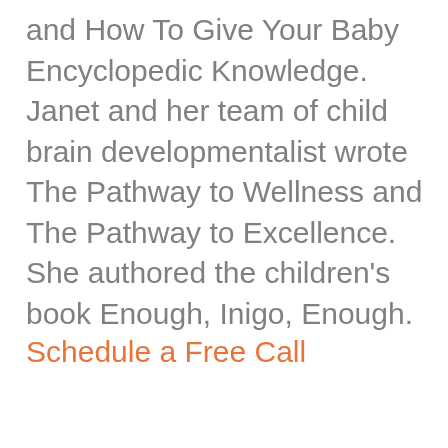and How To Give Your Baby Encyclopedic Knowledge. Janet and her team of child brain developmentalist wrote The Pathway to Wellness and The Pathway to Excellence. She authored the children's book Enough, Inigo, Enough.
Schedule a Free Call